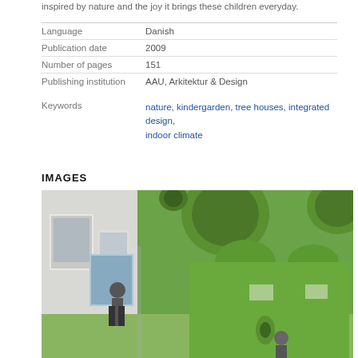inspired by nature and the joy it brings these children everyday.
| Language | Danish |
| Publication date | 2009 |
| Number of pages | 151 |
| Publishing institution | AAU, Arkitektur & Design |
| Keywords | nature, kindergarden, tree houses, integrated design, indoor climate |
IMAGES
[Figure (photo): Interior architectural rendering of a green kindergarten space with circular holes/openings in walls and ceiling, a child visible in the background near a window, and another child near the bottom right.]